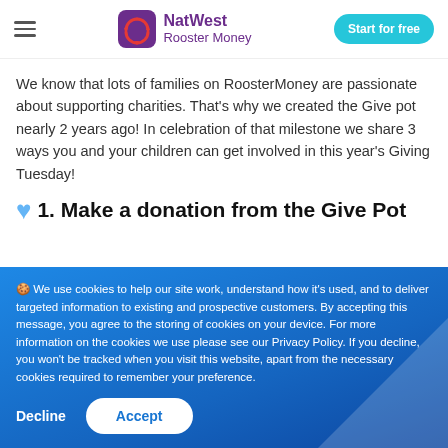NatWest Rooster Money — Start for free
We know that lots of families on RoosterMoney are passionate about supporting charities. That's why we created the Give pot nearly 2 years ago! In celebration of that milestone we share 3 ways you and your children can get involved in this year's Giving Tuesday!
💙 1. Make a donation from the Give Pot
🍪 We use cookies to help our site work, understand how it's used, and to deliver targeted information to existing and prospective customers. By accepting this message, you agree to the storing of cookies on your device. For more information on the cookies we use please see our Privacy Policy. If you decline, you won't be tracked when you visit this website, apart from the necessary cookies required to remember your preference.